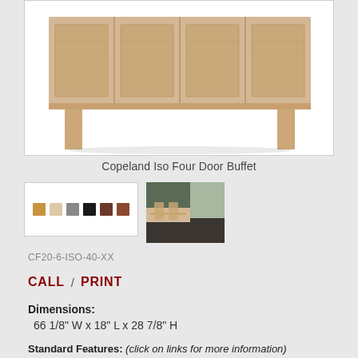[Figure (photo): Copeland Iso Four Door Buffet product photo — light oak wood sideboard with four flat-panel doors and square legs, shown against white background]
Copeland Iso Four Door Buffet
[Figure (photo): Color swatch strip showing 6 wood finish options ranging from light oak to dark espresso, plus a room scene thumbnail showing the buffet in a dining room setting]
CF20-6-ISO-40-XX
CALL / PRINT
Dimensions:
66 1/8" W x 18" L x 28 7/8" H
Standard Features: (click on links for more information)